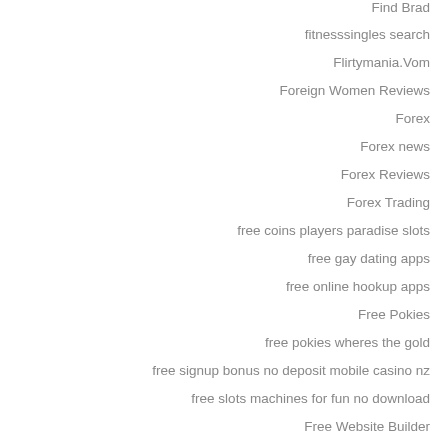Find Brad
fitnesssingles search
Flirtymania.Vom
Foreign Women Reviews
Forex
Forex news
Forex Reviews
Forex Trading
free coins players paradise slots
free gay dating apps
free online hookup apps
Free Pokies
free pokies wheres the gold
free signup bonus no deposit mobile casino nz
free slots machines for fun no download
Free Website Builder